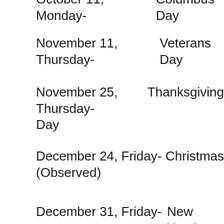October 11, Monday-    Columbus Day
November 11, Thursday-    Veterans Day
November 25, Thursday-    Thanksgiving Day
December 24, Friday-    Christmas (Observed)
December 31, Friday-    New Year's Day 2022  (Observed)
While many businesses and schools are closed on federal holidays, there is no law